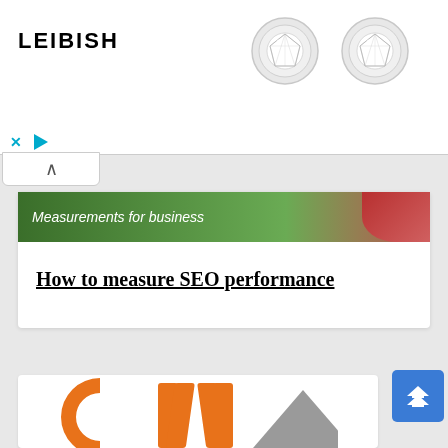[Figure (advertisement): Leibish jewelry advertisement banner with diamond stud earrings, showing two round diamond studs on white background with brand logo LEIBISH on the left]
[Figure (screenshot): Ad control icons: blue X close button and blue play triangle button]
[Figure (other): Collapse/minimize tab button with upward caret chevron]
[Figure (photo): Banner image with text 'Measurements for business' over green background with person in red polka dot top on the right]
How to measure SEO performance
[Figure (logo): Partial orange and grey CM logo letters at the bottom of the page]
[Figure (other): Blue scroll-to-top button with double upward chevron arrows]